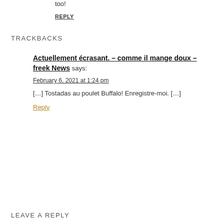too!
REPLY
TRACKBACKS
Actuellement écrasant. – comme il mange doux – freek News says:
February 6, 2021 at 1:24 pm
[…] Tostadas au poulet Buffalo! Enregistre-moi. […]
Reply
LEAVE A REPLY